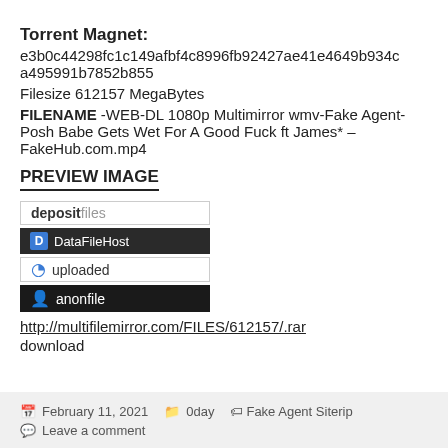Torrent Magnet: e3b0c44298fc1c149afbf4c8996fb92427ae41e4649b934ca495991b7852b855
Filesize 612157 MegaBytes
FILENAME -WEB-DL 1080p Multimirror wmv-Fake Agent-Posh Babe Gets Wet For A Good Fuck ft James* – FakeHub.com.mp4
PREVIEW IMAGE
[Figure (other): Four file hosting service badges: depositfiles, DataFileHost, uploaded, anonfile]
http://multifilemirror.com/FILES/612157/.rar download
February 11, 2021   0day   Fake Agent Siterip   Leave a comment